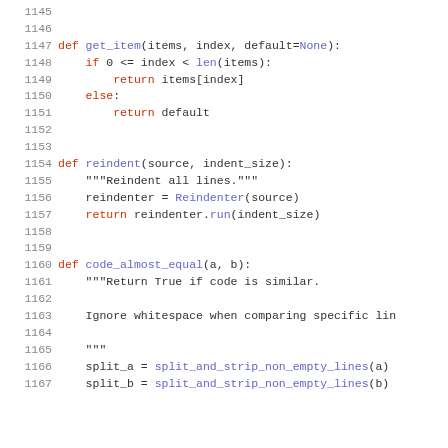Code listing lines 1145-1167, Python source code showing get_item, reindent, and code_almost_equal function definitions